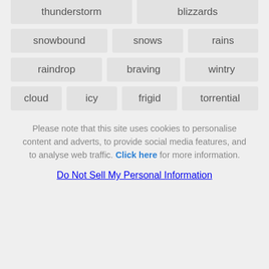thunderstorm
blizzards
snowbound
snows
rains
raindrop
braving
wintry
cloud
icy
frigid
torrential
Please note that this site uses cookies to personalise content and adverts, to provide social media features, and to analyse web traffic. Click here for more information.
Do Not Sell My Personal Information